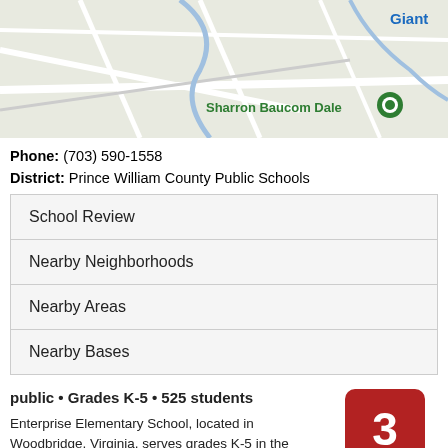[Figure (map): Street map showing location of Sharron Baucom Dale school with a green pin marker, and 'Giant' label visible in top right corner.]
Phone: (703) 590-1558
District: Prince William County Public Schools
| School Review |
| Nearby Neighborhoods |
| Nearby Areas |
| Nearby Bases |
public • Grades K-5 • 525 students
Enterprise Elementary School, located in Woodbridge, Virginia, serves grades K-5 in the Prince William County Public Schools district. Based on its state test results, it has received a GreatSchools Rating of 3 out of 10.
[Figure (infographic): Dark red rounded square badge showing the number 3 in white, labeled 'GreatSchools Rating' below.]